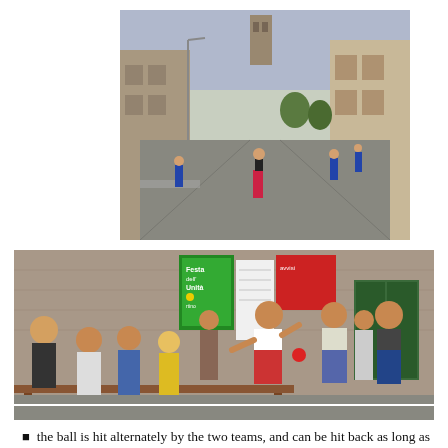[Figure (photo): Street scene showing people playing a ball game on a wide road in an Italian village, with stone buildings and a church tower visible in the background.]
[Figure (photo): Group of spectators watching a ball game near a wall with posters including 'Festa dell'Unita' sign; people sitting on a bench and standing.]
the ball is hit alternately by the two teams, and can be hit back as long as it bounces once (at the most),